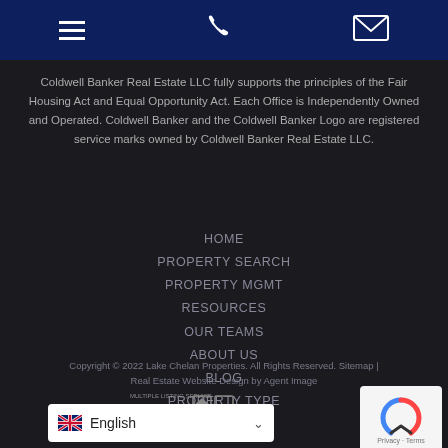Navigation header with hamburger menu, phone, and email icons
Coldwell Banker Real Estate LLC fully supports the principles of the Fair Housing Act and Equal Opportunity Act. Each Office is Independently Owned and Operated. Coldwell Banker and the Coldwell Banker Logo are registered service marks owned by Coldwell Banker Real Estate LLC.
HOME
PROPERTY SEARCH
PROPERTY MGMT
RESOURCES
OUR TEAMS
ABOUT US
BLOG
PROPERTY TYPE
Copyright © 2022 Lake Chelan Properties. All Rights Reserved. Sitemap | Real Estate Website Design by Agent Image
[Figure (logo): MLS, Equal Housing, and Realtor logos]
[Figure (other): reCAPTCHA privacy badge]
English language selector dropdown